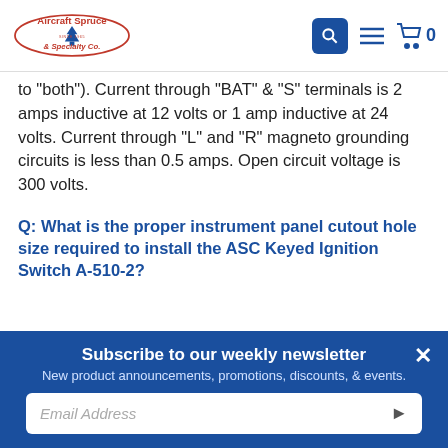Aircraft Spruce & Specialty Co. [logo] [search] [menu] [cart] 0
to "both"). Current through "BAT" & "S" terminals is 2 amps inductive at 12 volts or 1 amp inductive at 24 volts. Current through "L" and "R" magneto grounding circuits is less than 0.5 amps. Open circuit voltage is 300 volts.
Q: What is the proper instrument panel cutout hole size required to install the ASC Keyed Ignition Switch A-510-2?
Subscribe to our weekly newsletter
New product announcements, promotions, discounts, & events.
Email Address